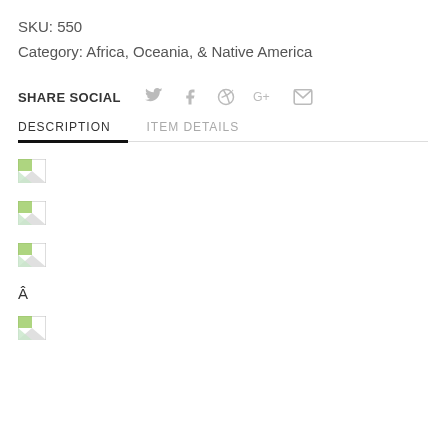SKU: 550
Category: Africa, Oceania, & Native America
SHARE SOCIAL
DESCRIPTION   ITEM DETAILS
[Figure (illustration): Broken image placeholder 1]
[Figure (illustration): Broken image placeholder 2]
[Figure (illustration): Broken image placeholder 3]
Â
[Figure (illustration): Broken image placeholder 4]